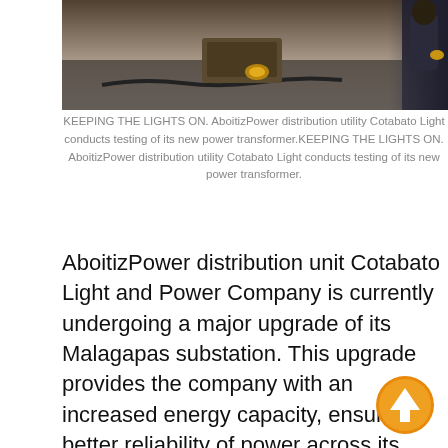[Figure (photo): Workers conducting testing of a power transformer at a substation site, showing electrical equipment and a worker in the background.]
KEEPING THE LIGHTS ON. AboitizPower distribution utility Cotabato Light conducts testing of its new power transformer.KEEPING THE LIGHTS ON. AboitizPower distribution utility Cotabato Light conducts testing of its new power transformer.
AboitizPower distribution unit Cotabato Light and Power Company is currently undergoing a major upgrade of its Malagapas substation. This upgrade provides the company with an increased energy capacity, ensuring better reliability of power across its franchise area.
The project involves the installation of new electrical equipment, including the addition of a 15-MVA transformer — a new device that is used to control and protect the equipment at the site. The upgrades also allow for remote monitoring and operations, which is essential during the ongoing pandemic and is vital in